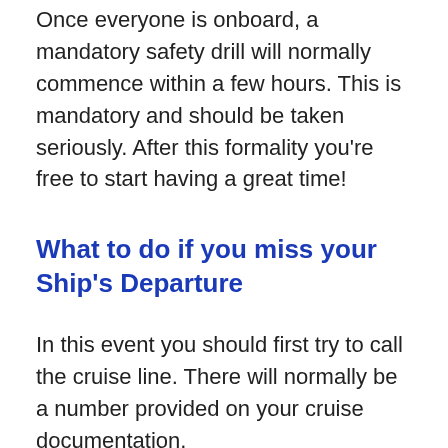Once everyone is onboard, a mandatory safety drill will normally commence within a few hours. This is mandatory and should be taken seriously. After this formality you're free to start having a great time!
What to do if you miss your Ship's Departure
In this event you should first try to call the cruise line. There will normally be a number provided on your cruise documentation.
Depending on the circumstances of why you missed the departure you will basically need to find a way to meet up with the ship at its next port of arrival. If you